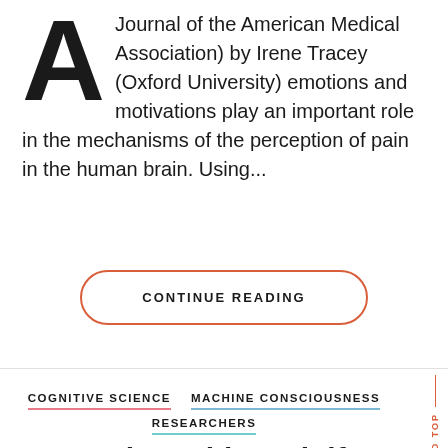Journal of the American Medical Association) by Irene Tracey (Oxford University) emotions and motivations play an important role in the mechanisms of the perception of pain in the human brain. Using...
CONTINUE READING
COGNITIVE SCIENCE
MACHINE CONSCIOUSNESS
RESEARCHERS
Interview with Rodolfo Llinás